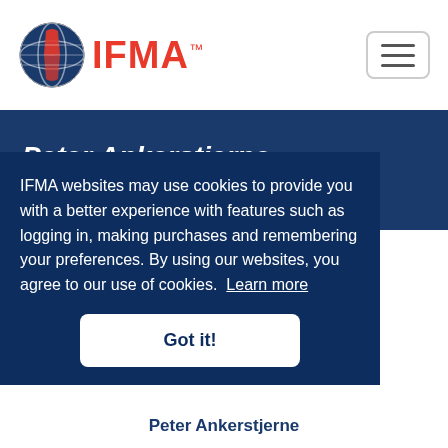[Figure (logo): IFMA logo with globe icon and red IFMA text with TM mark]
Peter Ankerstjerne
Past Chair
IFMA websites may use cookies to provide you with a better experience with features such as logging in, making purchases and remembering your preferences. By using our websites, you agree to our use of cookies. Learn more
Got it!
Peter Ankerstjerne